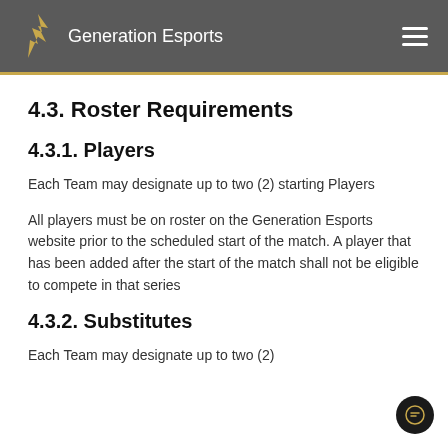Generation Esports
4.3. Roster Requirements
4.3.1. Players
Each Team may designate up to two (2) starting Players
All players must be on roster on the Generation Esports website prior to the scheduled start of the match. A player that has been added after the start of the match shall not be eligible to compete in that series
4.3.2. Substitutes
Each Team may designate up to two (2)